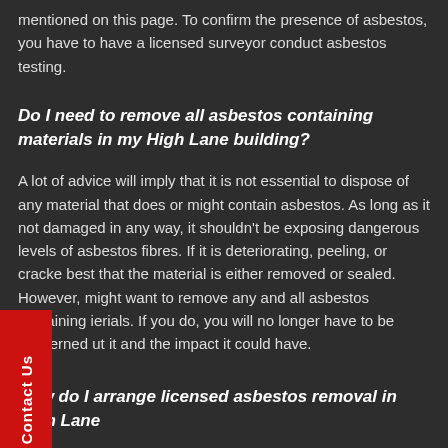mentioned on this page. To confirm the presence of asbestos, you have to have a licensed surveyor conduct asbestos testing.
Do I need to remove all asbestos containing materials in my High Lane building?
A lot of advice will imply that it is not essential to dispose of any material that does or might contain asbestos. As long as it not damaged in any way, it shouldn't be exposing dangerous levels of asbestos fibres. If it is deteriorating, peeling, or cracke best that the material is either removed or sealed. However, might want to remove any and all asbestos containing ierials. If you do, you will no longer have to be concerned ut it and the impact it could have.
How do I arrange licensed asbestos removal in High Lane